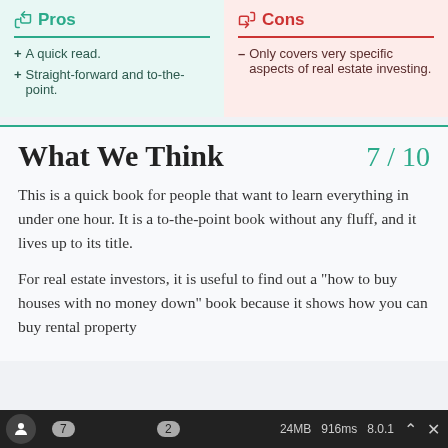Pros
+ A quick read.
+ Straight-forward and to-the-point.
Cons
– Only covers very specific aspects of real estate investing.
What We Think
7 / 10
This is a quick book for people that want to learn everything in under one hour. It is a to-the-point book without any fluff, and it lives up to its title.
For real estate investors, it is useful to find out a "how to buy houses with no money down" book because it shows how you can buy rental property
7  2  24MB  916ms  8.0.1